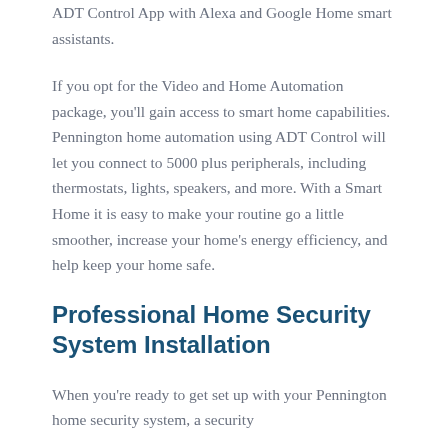ADT Control App with Alexa and Google Home smart assistants.
If you opt for the Video and Home Automation package, you'll gain access to smart home capabilities. Pennington home automation using ADT Control will let you connect to 5000 plus peripherals, including thermostats, lights, speakers, and more. With a Smart Home it is easy to make your routine go a little smoother, increase your home's energy efficiency, and help keep your home safe.
Professional Home Security System Installation
When you're ready to get set up with your Pennington home security system, a security